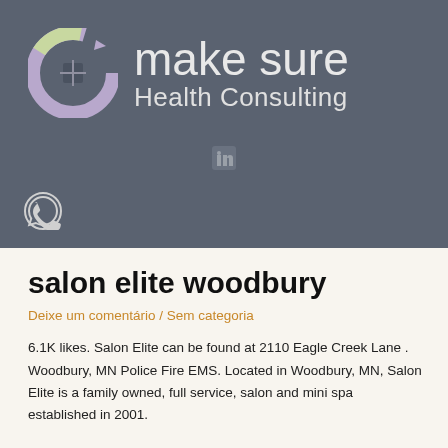[Figure (logo): Make Sure Health Consulting logo with circular arrow icon in purple/green tones and company name in light gray text on dark gray background]
salon elite woodbury
Deixe um comentário / Sem categoria
6.1K likes. Salon Elite can be found at 2110 Eagle Creek Lane . Woodbury, MN Police Fire EMS. Located in Woodbury, MN, Salon Elite is a family owned, full service, salon and mini spa established in 2001.